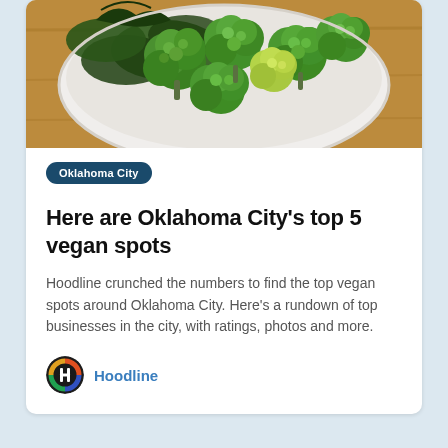[Figure (photo): A white bowl filled with fresh green broccoli florets and leafy greens on a wooden surface, viewed from above.]
Oklahoma City
Here are Oklahoma City's top 5 vegan spots
Hoodline crunched the numbers to find the top vegan spots around Oklahoma City. Here's a rundown of top businesses in the city, with ratings, photos and more.
Hoodline